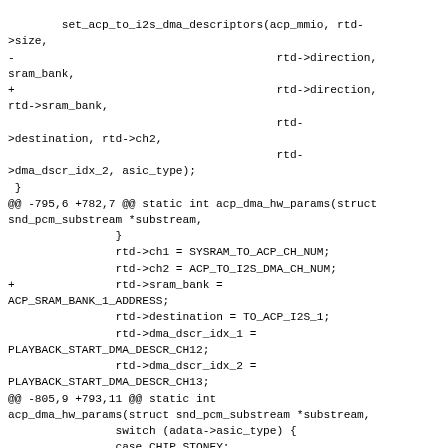set_acp_to_i2s_dma_descriptors(acp_mmio, rtd->size,
-                                               rtd->direction, sram_bank,
+                                               rtd->direction, rtd->sram_bank,
                                               rtd->destination, rtd->ch2,
                                               rtd->dma_dscr_idx_2, asic_type);
 }
@@ -795,6 +782,7 @@ static int acp_dma_hw_params(struct snd_pcm_substream *substream,
                }
                rtd->ch1 = SYSRAM_TO_ACP_CH_NUM;
                rtd->ch2 = ACP_TO_I2S_DMA_CH_NUM;
+               rtd->sram_bank = ACP_SRAM_BANK_1_ADDRESS;
                rtd->destination = TO_ACP_I2S_1;
                rtd->dma_dscr_idx_1 = PLAYBACK_START_DMA_DESCR_CH12;
                rtd->dma_dscr_idx_2 = PLAYBACK_START_DMA_DESCR_CH13;
@@ -805,9 +793,11 @@ static int acp_dma_hw_params(struct snd_pcm_substream *substream,
               switch (adata->asic_type) {
               case CHIP_STONEY:
                       rtd->pte_offset = ACP_ST_CAPTURE_PTE_OFFSET;
+                      rtd->sram_bank =